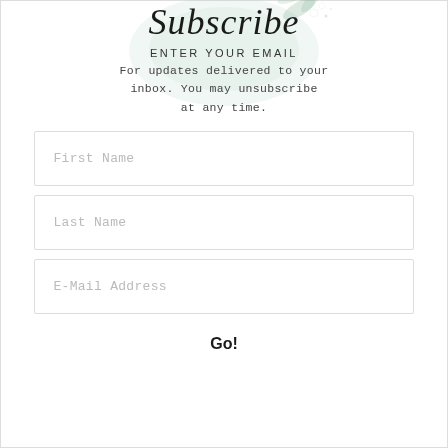Subscribe
ENTER YOUR EMAIL
For updates delivered to your inbox. You may unsubscribe at any time.
First Name
Last Name
E-Mail Address
Go!